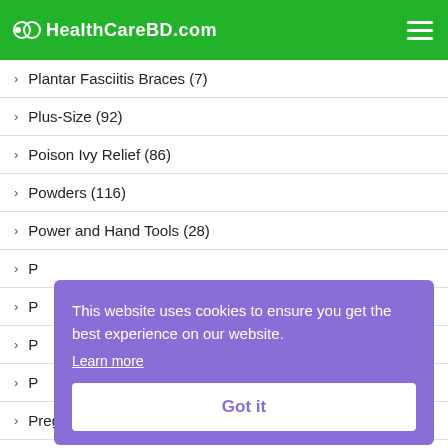HealthCareBD.com
Plantar Fasciitis Braces (7)
Plus-Size (92)
Poison Ivy Relief (86)
Powders (116)
Power and Hand Tools (28)
P...
P...
P...
P...
Pregnancy Tests (40)
This website uses cookies to ensure you get the best experience on our website. Learn more Got it